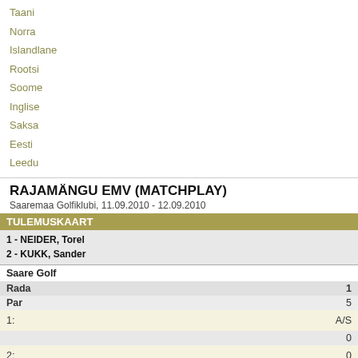Taani
Norra
Islandlane
Rootsi
Soome
Inglise
Saksa
Eesti
Leedu
RAJAMÄNGU EMV (MATCHPLAY)
Saaremaa Golfiklubi, 11.09.2010 - 12.09.2010
| TULEMUSKAART |
| --- |
| 1 - NEIDER, Torel
2 - KUKK, Sander |
| Saare Golf |  |
| Rada | 1 |
| Par | 5 |
| 1: | A/S |
|  | 0 |
| 2: | 0 |
|  | A/S |